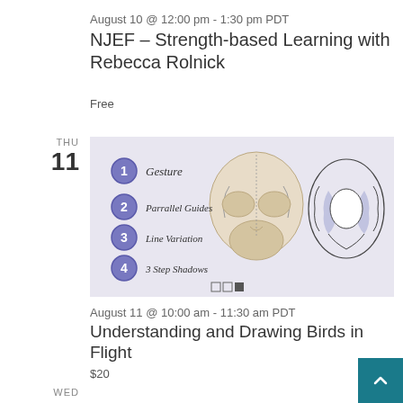August 10 @ 12:00 pm - 1:30 pm PDT
NJEF – Strength-based Learning with Rebecca Rolnick
Free
THU
11
[Figure (photo): Drawing tutorial image showing a cat skull and a hand-drawn illustration with numbered steps: 1 Gesture, 2 Parrallel Guides, 3 Line Variation, 4 3 Step Shadows]
August 11 @ 10:00 am - 11:30 am PDT
Understanding and Drawing Birds in Flight
$20
WED